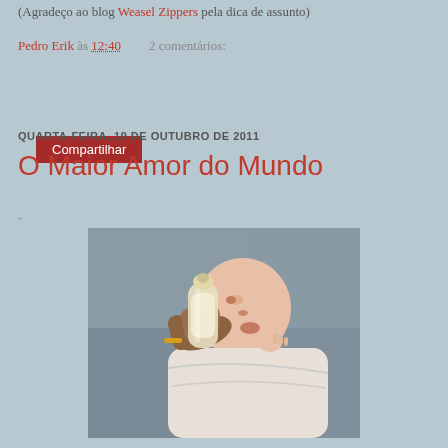(Agradeço ao blog Weasel Zippers pela dica de assunto)
Pedro Erik às 12:40    2 comentários:
Compartilhar
QUARTA-FEIRA, 19 DE OUTUBRO DE 2011
O Maior Amor do Mundo
-
[Figure (photo): A newborn baby being bottle-fed by an adult hand wearing a gold ring. The baby is wrapped in a white blanket and appears to be in a medical or indoor setting. Close-up photograph.]